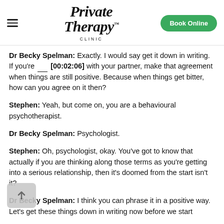Private Therapy Clinic | Book Online
Dr Becky Spelman: Exactly. I would say get it down in writing. If you're __ [00:02:06] with your partner, make that agreement when things are still positive. Because when things get bitter, how can you agree on it then?
Stephen: Yeah, but come on, you are a behavioural psychotherapist.
Dr Becky Spelman: Psychologist.
Stephen: Oh, psychologist, okay. You've got to know that actually if you are thinking along those terms as you're getting into a serious relationship, then it's doomed from the start isn't it?
Dr Becky Spelman: I think you can phrase it in a positive way. Let's get these things down in writing now before we start